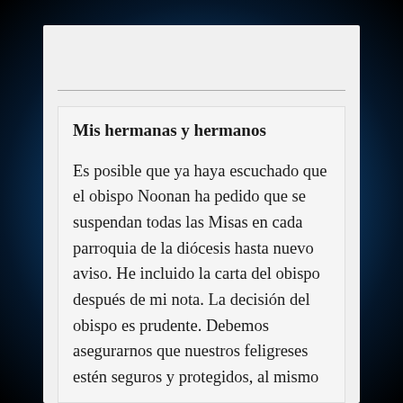Mis hermanas y hermanos
Es posible que ya haya escuchado que el obispo Noonan ha pedido que se suspendan todas las Misas en cada parroquia de la diócesis hasta nuevo aviso. He incluido la carta del obispo después de mi nota. La decisión del obispo es prudente. Debemos asegurarnos que nuestros feligreses estén seguros y protegidos, al mismo